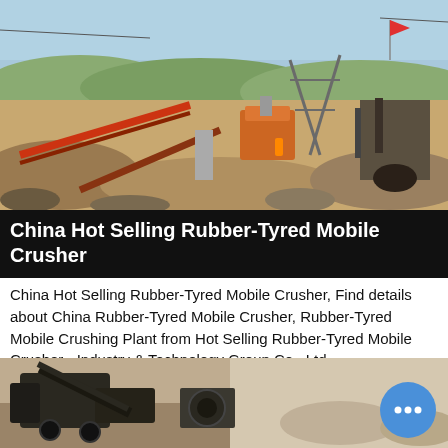[Figure (photo): Outdoor industrial quarry or mining site with mobile crushing equipment, conveyor belts, orange machinery, and excavation equipment on a hillside under a blue sky.]
China Hot Selling Rubber-Tyred Mobile Crusher
China Hot Selling Rubber-Tyred Mobile Crusher, Find details about China Rubber-Tyred Mobile Crusher, Rubber-Tyred Mobile Crushing Plant from Hot Selling Rubber-Tyred Mobile Crusher - Industry & Technology Group Co., Ltd.
More Details
[Figure (photo): Close-up of mobile crushing machinery equipment parked on sandy/rocky ground, with a chat bubble icon overlay in the lower right corner.]